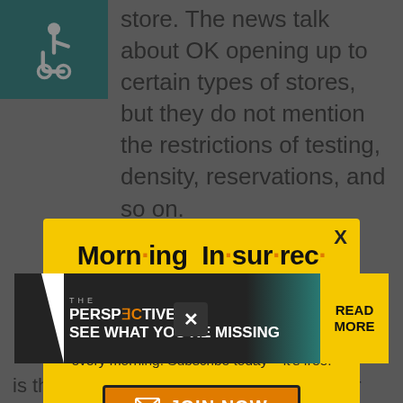store. The news talk about OK opening up to certain types of stores, but they do not mention the restrictions of testing, density, reservations, and so on.
[Figure (infographic): Morning Insurrection newsletter popup modal with yellow background. Title reads 'Morn·ing In·sur·rec·tion' with orange dots as bullet separators. Subtitle: 'Get the latest news from Legal Insurrection, plus exclusive content, direct to your inbox every morning. Subscribe today – it's free!' with a JOIN NOW button.]
increased activity h guidelines. OK
[Figure (infographic): THE PERSPECTIVE banner advertisement: 'SEE WHAT YOU'RE MISSING' with READ MORE button on yellow background.]
is the big deal – we are watching out for